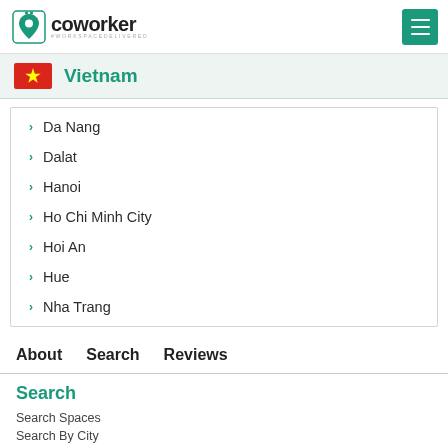coworker #WORKSPACEDELIVERED
Vietnam
Da Nang
Dalat
Hanoi
Ho Chi Minh City
Hoi An
Hue
Nha Trang
About  Search  Reviews
Search
Search Spaces
Search By City